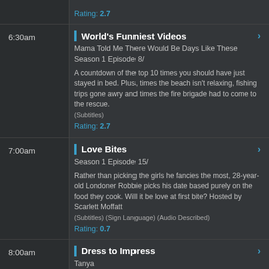Rating: 2.7
6:30am
World's Funniest Videos
Mama Told Me There Would Be Days Like These
Season 1 Episode 8/
A countdown of the top 10 times you should have just stayed in bed. Plus, times the beach isn't relaxing, fishing trips gone awry and times the fire brigade had to come to the rescue.
(Subtitles)
Rating: 2.7
7:00am
Love Bites
Season 1 Episode 15/
Rather than picking the girls he fancies the most, 28-year-old Londoner Robbie picks his date based purely on the food they cook. Will it be love at first bite? Hosted by Scarlett Moffatt
(Subtitles) (Sign Language) (Audio Described)
Rating: 0.7
8:00am
Dress to Impress
Tanya
Season 2 Episode 5/30